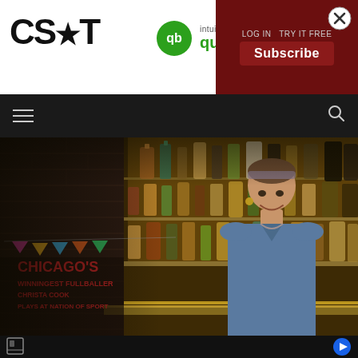[Figure (screenshot): Website screenshot showing a CS*T logo with Intuit QuickBooks advertisement banner at top, a dark navigation bar with hamburger menu and search icon, and a main image of a woman bartender standing at a bar with liquor bottles on shelves behind her. Text overlay reads CHICAGO'S WINNINGEST FULLBALLER with additional text. A Subscribe button appears in the top right corner.]
CS*T | qb intuit quickbooks | Log In Try It Free | Subscribe